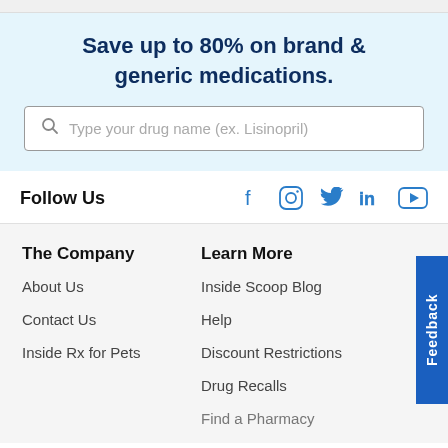Save up to 80% on brand & generic medications.
[Figure (screenshot): Search input box with placeholder text: Type your drug name (ex. Lisinopril)]
Follow Us
[Figure (infographic): Social media icons: Facebook, Instagram, Twitter, LinkedIn, YouTube]
The Company
About Us
Contact Us
Inside Rx for Pets
Learn More
Inside Scoop Blog
Help
Discount Restrictions
Drug Recalls
Find a Pharmacy